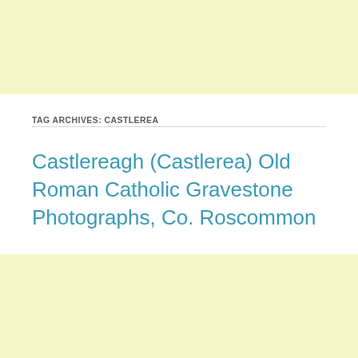TAG ARCHIVES: CASTLEREA
Castlereagh (Castlerea) Old Roman Catholic Gravestone Photographs, Co. Roscommon